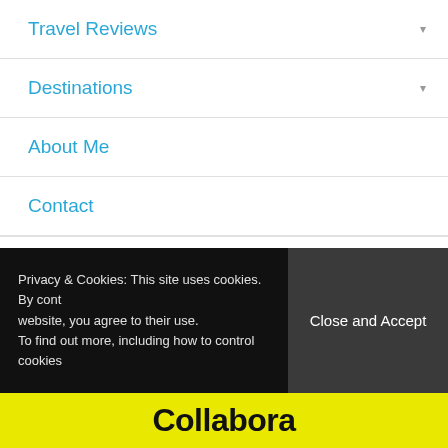Travel Reviews
Destinations
About Me
Contact
Categories
Select Category
Privacy & Cookies: This site uses cookies. By cont website, you agree to their use. To find out more, including how to control cookies
Close and Accept
Collaborate